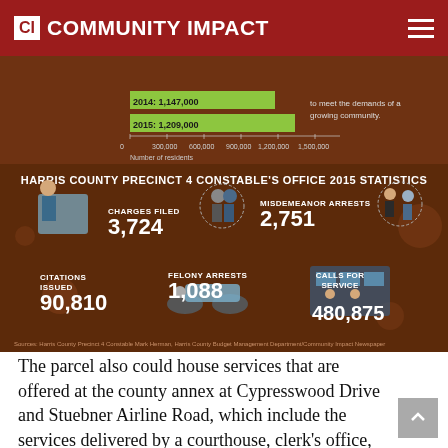CI COMMUNITY IMPACT
[Figure (infographic): Harris County Precinct 4 Constable's Office 2015 Statistics infographic on dark brown background. Shows bar chart with 2014: 1,147,000 and 2015: 1,209,000 residents, and statistics: Charges Filed 3,724; Misdemeanor Arrests 2,751; Citations Issued 90,810; Felony Arrests 1,088; Calls for Service 480,875. Source: Harris County Precinct 4 Constable Mark Herman, Harris County Budget Management Department/Community Impact Newspaper]
The parcel also could house services that are offered at the county annex at Cypresswood Drive and Stuebner Airline Road, which include the services delivered by a courthouse, clerk's office, sheriff's substation, constable's office, tax office and justice of the peace.